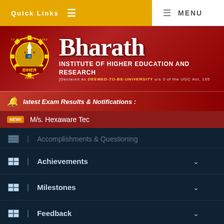Quick Links  ☰    ☰  MENU
[Figure (logo): Bharath Institute of Higher Education and Research logo with gear and torch emblem]
Bharath
INSTITUTE OF HIGHER EDUCATION AND RESEARCH
[Declared as DEEMED-TO-BE-UNIVERSITY u/s 3 of the UGC Act, 195
latest Exam Results & Notifications :
NEW  M/s. Hexaware Tec
Accomplishments & Questioning
Achievements
Milestones
Feedback
Vision Book – 2025
Downloads
e - workload Allocation